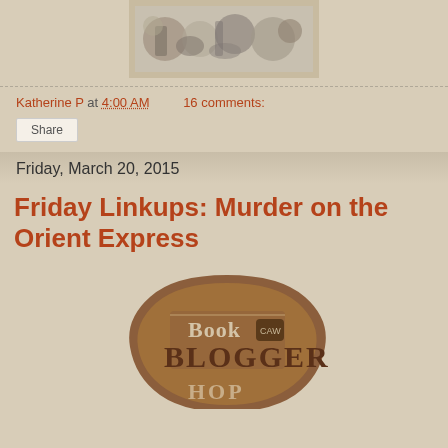[Figure (illustration): Decorative collage image with circular patterns, dishes, and various objects in a black and white style, framed with a light border]
Katherine P at 4:00 AM    16 comments:
Share
Friday, March 20, 2015
Friday Linkups: Murder on the Orient Express
[Figure (logo): Book Blogger Hop logo badge — brown badge shape with text 'Book CAW BLOGGER HOP']